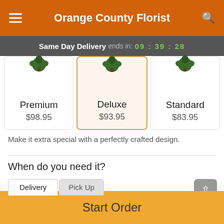Orange County Florist
Same Day Delivery ends in: 09 : 39 : 28
| Product | Price |
| --- | --- |
| Premium | $98.95 |
| Deluxe | $93.95 |
| Standard | $83.95 |
Make it extra special with a perfectly crafted design.
When do you need it?
Delivery | Pick Up
Today | Sun | Mon | View More
Start Order